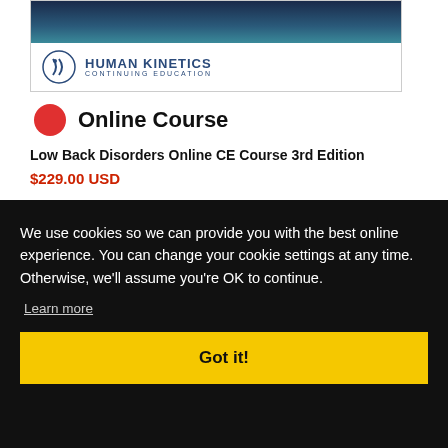[Figure (screenshot): Human Kinetics Continuing Education course banner with logo and blue gradient background]
Online Course
Low Back Disorders Online CE Course 3rd Edition
$229.00 USD
We use cookies so we can provide you with the best online experience. You can change your cookie settings at any time. Otherwise, we'll assume you're OK to continue.
Learn more
Got it!